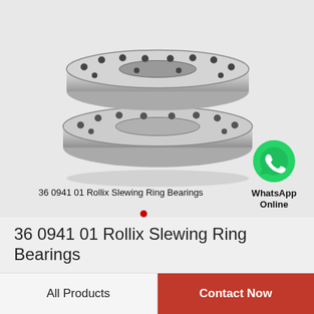[Figure (photo): Two stacked slewing ring bearings (annular flanged rings with bolt holes), metallic silver finish, product catalog photo. Image caption reads: 36 0941 01 Rollix Slewing Ring Bearings. A WhatsApp icon (green circle with phone handset) with text 'WhatsApp Online' is overlaid at bottom right.]
36 0941 01 Rollix Slewing Ring Bearings
All Products
Contact Now